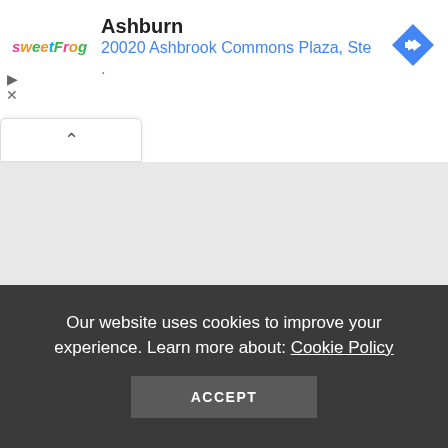[Figure (screenshot): sweetFrog frozen yogurt brand logo in colorful text]
Ashburn
20020 Ashbrook Commons Plaza, Ste .
[Figure (other): Blue diamond navigation/directions icon with right-turn arrow]
[Figure (map): Gray map area showing local area around Ashburn location]
Our website uses cookies to improve your experience. Learn more about: Cookie Policy
ACCEPT